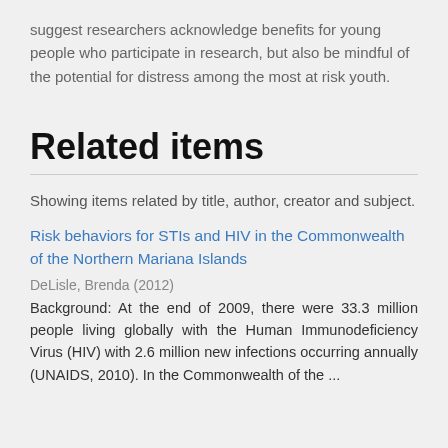suggest researchers acknowledge benefits for young people who participate in research, but also be mindful of the potential for distress among the most at risk youth.
Related items
Showing items related by title, author, creator and subject.
Risk behaviors for STIs and HIV in the Commonwealth of the Northern Mariana Islands
DeLisle, Brenda (2012)
Background: At the end of 2009, there were 33.3 million people living globally with the Human Immunodeficiency Virus (HIV) with 2.6 million new infections occurring annually (UNAIDS, 2010). In the Commonwealth of the ...